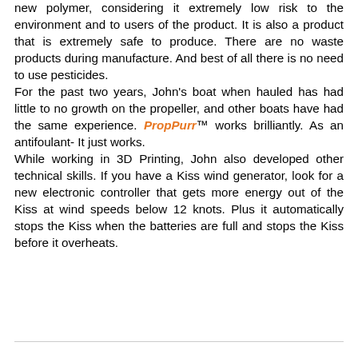new polymer, considering it extremely low risk to the environment and to users of the product. It is also a product that is extremely safe to produce. There are no waste products during manufacture. And best of all there is no need to use pesticides. For the past two years, John's boat when hauled has had little to no growth on the propeller, and other boats have had the same experience. PropPurr™ works brilliantly. As an antifoulant- It just works. While working in 3D Printing, John also developed other technical skills. If you have a Kiss wind generator, look for a new electronic controller that gets more energy out of the Kiss at wind speeds below 12 knots. Plus it automatically stops the Kiss when the batteries are full and stops the Kiss before it overheats.